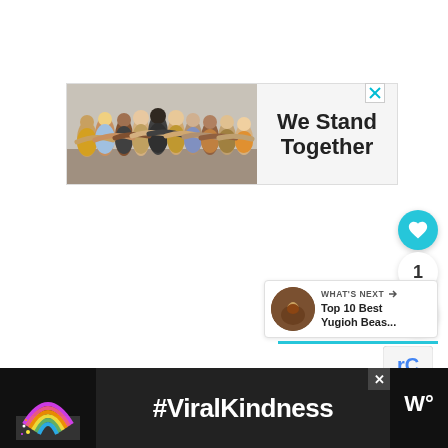[Figure (screenshot): Website screenshot showing a 'We Stand Together' advertisement banner at top with photo of diverse group of people with arms around each other. Below are UI elements: a heart/like button (teal), a count showing '1', and a share button on the right sidebar. A 'WHAT'S NEXT' panel shows 'Top 10 Best Yugioh Beas...' with thumbnail. At the bottom is a '#ViralKindness' ad banner with rainbow graphic on dark background.]